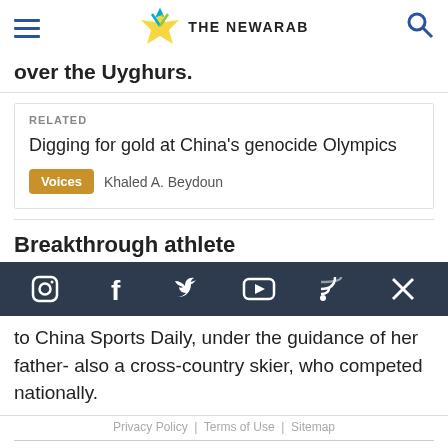The New Arab
over the Uyghurs.
RELATED
Digging for gold at China's genocide Olympics
Voices  Khaled A. Beydoun
Breakthrough athlete
[Figure (other): Social media icon bar with Instagram, Facebook, Twitter, YouTube, RSS, and X icons on dark navy background]
to China Sports Daily, under the guidance of her father- also a cross-country skier, who competed nationally.
Privacy Policy  |  Terms of Use  |  Sitemap
Most Viewed ^